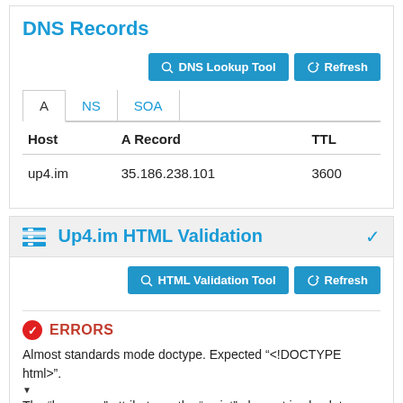DNS Records
| Host | A Record | TTL |
| --- | --- | --- |
| up4.im | 35.186.238.101 | 3600 |
Up4.im HTML Validation
ERRORS
Almost standards mode doctype. Expected "<!DOCTYPE html>".
The “language” attribute on the “script” element is obsolete